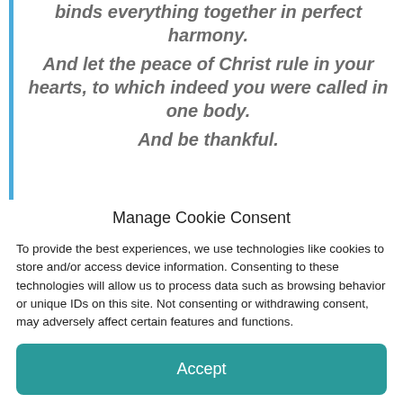binds everything together in perfect harmony. And let the peace of Christ rule in your hearts, to which indeed you were called in one body. And be thankful.
Manage Cookie Consent
To provide the best experiences, we use technologies like cookies to store and/or access device information. Consenting to these technologies will allow us to process data such as browsing behavior or unique IDs on this site. Not consenting or withdrawing consent, may adversely affect certain features and functions.
Accept